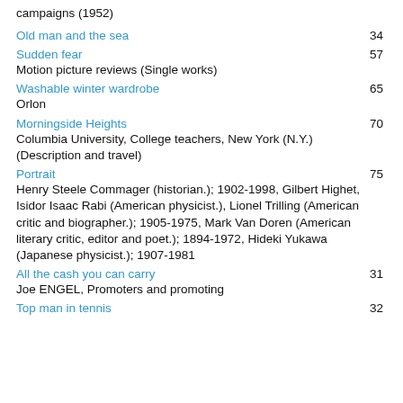campaigns (1952)
Old man and the sea    34
Sudden fear    57
Motion picture reviews (Single works)
Washable winter wardrobe    65
Orlon
Morningside Heights    70
Columbia University, College teachers, New York (N.Y.) (Description and travel)
Portrait    75
Henry Steele Commager (historian.); 1902-1998, Gilbert Highet, Isidor Isaac Rabi (American physicist.), Lionel Trilling (American critic and biographer.); 1905-1975, Mark Van Doren (American literary critic, editor and poet.); 1894-1972, Hideki Yukawa (Japanese physicist.); 1907-1981
All the cash you can carry    31
Joe ENGEL, Promoters and promoting
Top man in tennis    32